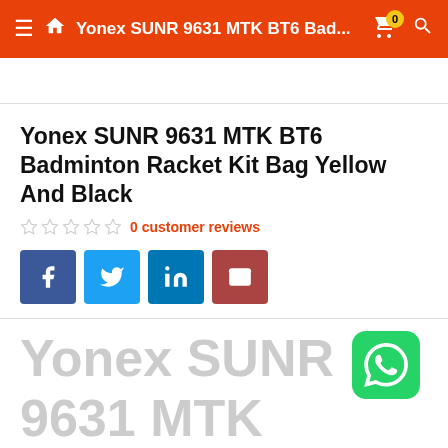Yonex SUNR 9631 MTK BT6 Bad...
Yonex SUNR 9631 MTK BT6 Badminton Racket Kit Bag Yellow And Black
0 customer reviews
[Figure (other): Social share buttons: Facebook, Twitter, LinkedIn, Email]
[Figure (other): WhatsApp contact button (green, bottom right)]
Yonex SUNR 9631 MTK BT6 Badminton Racket